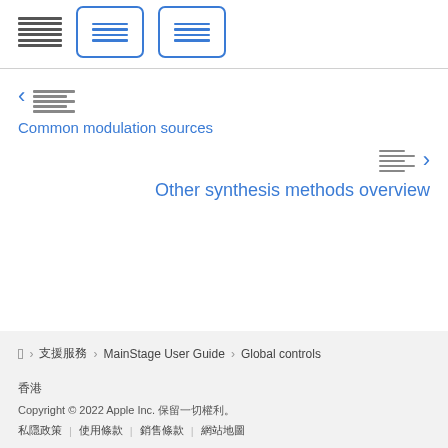[Figure (screenshot): Top navigation icons: a dark striped icon block and two bordered blue icon boxes]
Common modulation sources
Other synthesis methods overview
支援服務 › MainStage User Guide › Global controls
香港
Copyright © 2022 Apple Inc. 保留一切權利。
私隱政策 | 使用條款 | 銷售條款 | 網站地圖